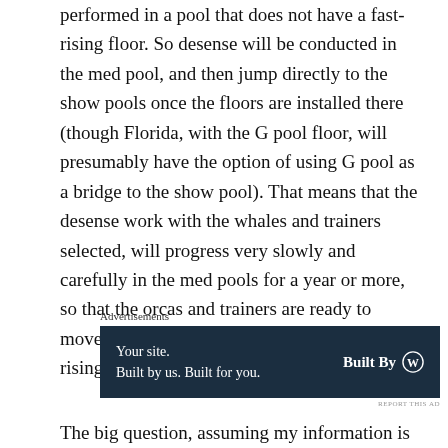performed in a pool that does not have a fast-rising floor. So desense will be conducted in the med pool, and then jump directly to the show pools once the floors are installed there (though Florida, with the G pool floor, will presumably have the option of using G pool as a bridge to the show pool). That means that the desense work with the whales and trainers selected, will progress very slowly and carefully in the med pools for a year or more, so that the orcas and trainers are ready to move into the show pools when they have fast-rising floors.
[Figure (other): Advertisement banner: dark navy background with text 'Your site. Built by us. Built for you.' on the left and 'Built By' with WordPress logo on the right.]
The big question, assuming my information is solid, is